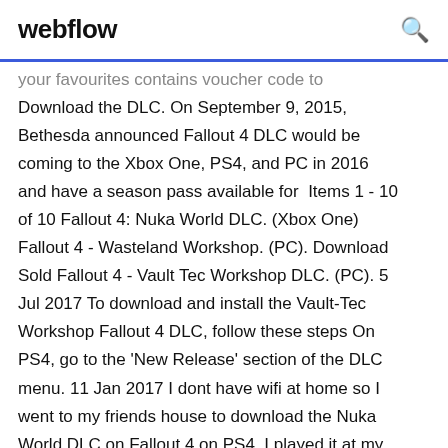webflow
your favourites contains voucher code to Download the DLC. On September 9, 2015, Bethesda announced Fallout 4 DLC would be coming to the Xbox One, PS4, and PC in 2016 and have a season pass available for Items 1 - 10 of 10 Fallout 4: Nuka World DLC. (Xbox One) Fallout 4 - Wasteland Workshop. (PC). Download Sold Fallout 4 - Vault Tec Workshop DLC. (PC). 5 Jul 2017 To download and install the Vault-Tec Workshop Fallout 4 DLC, follow these steps On PS4, go to the 'New Release' section of the DLC menu. 11 Jan 2017 I dont have wifi at home so I went to my friends house to download the Nuka World DLC on Fallout 4 on PS4. I played it at my friends house for 3 Jun 2016 If you've been